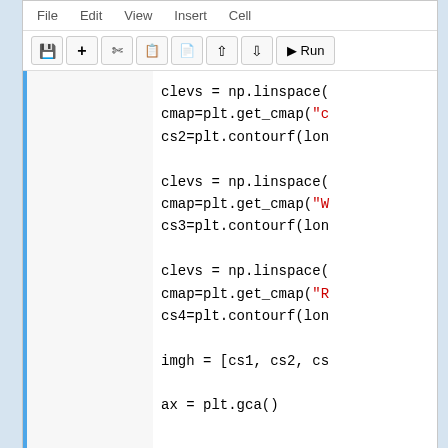[Figure (screenshot): Jupyter Notebook interface showing Python code with contourf plot commands. Code includes clevs = np.linspace(...), cmap=plt.get_cmap("c..."), cs2=plt.contourf(lon...), repeated three times with different colormap names (c, w, R) and variable names (cs2, cs3, cs4), followed by imgh = [cs1, cs2, cs... and ax = plt.gca()]
Jupyter Notebook Run
jupyter_recipes.png (179.4 KiB) Viewed 21560 times
Re: How to Use PODAAC Docker Images for Data Recipes
by sifrah » Mon
sifrah
Posts: 1
Joined: Mon